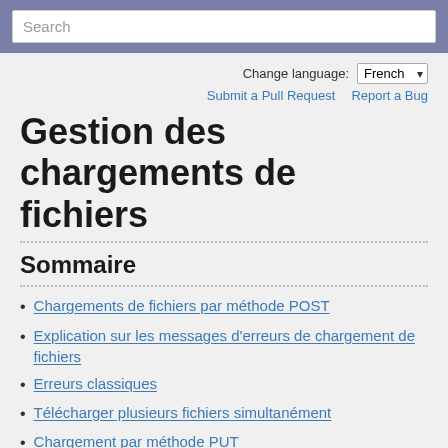Search
Change language: French
Submit a Pull Request   Report a Bug
Gestion des chargements de fichiers
Sommaire
Chargements de fichiers par méthode POST
Explication sur les messages d'erreurs de chargement de fichiers
Erreurs classiques
Télécharger plusieurs fichiers simultanément
Chargement par méthode PUT